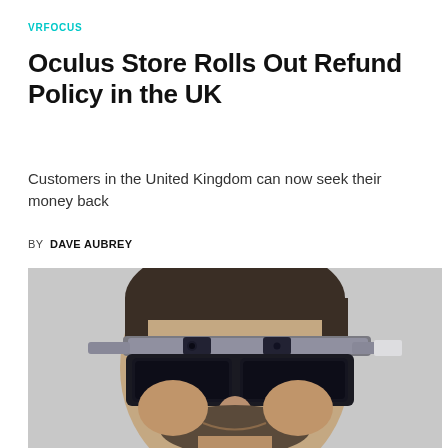VRFOCUS
Oculus Store Rolls Out Refund Policy in the UK
Customers in the United Kingdom can now seek their money back
BY DAVE AUBREY
[Figure (photo): A man wearing large AR/VR goggles/headset, smiling, photographed close-up against a light grey background.]